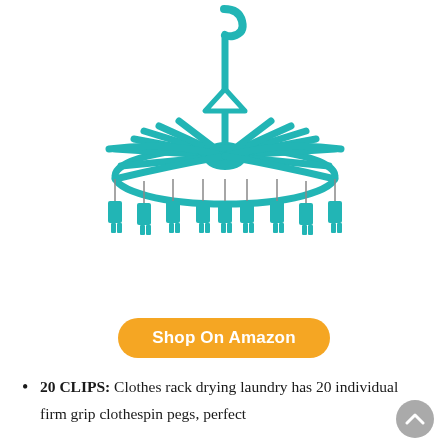[Figure (photo): A teal/turquoise plastic clothes drying rack hanger with 20 individual clothespin pegs attached via metal rings to curved radial arms, suspended from a hook at the top, on a white background.]
Shop On Amazon
20 CLIPS: Clothes rack drying laundry has 20 individual firm grip clothespin pegs, perfect